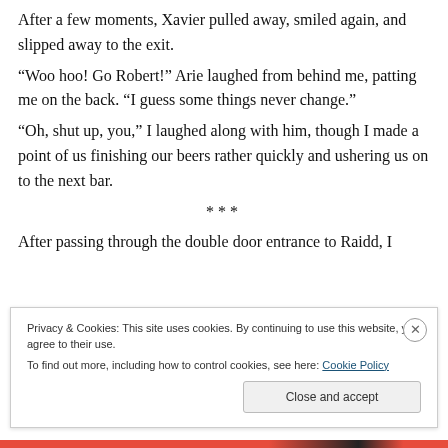After a few moments, Xavier pulled away, smiled again, and slipped away to the exit.
“Woo hoo! Go Robert!” Arie laughed from behind me, patting me on the back. “I guess some things never change.”
“Oh, shut up, you,” I laughed along with him, though I made a point of us finishing our beers rather quickly and ushering us on to the next bar.
***
After passing through the double door entrance to Raidd, I
Privacy & Cookies: This site uses cookies. By continuing to use this website, you agree to their use.
To find out more, including how to control cookies, see here: Cookie Policy
Close and accept